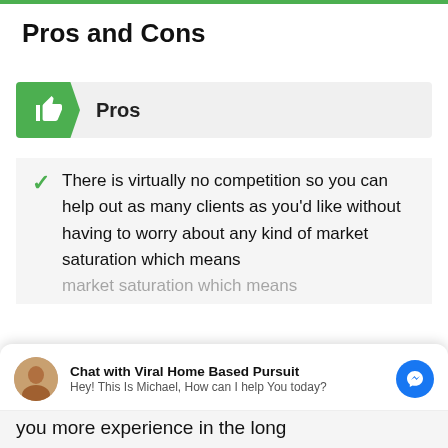Pros and Cons
Pros
There is virtually no competition so you can help out as many clients as you'd like without having to worry about any kind of market saturation which means you will have plenty to profit from... you more experience in the long
Chat with Viral Home Based Pursuit
Hey! This Is Michael, How can I help You today?